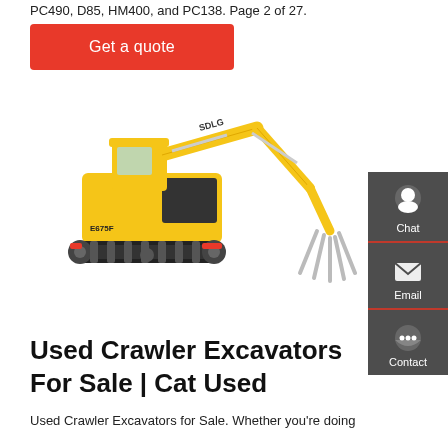PC490, D85, HM400, and PC138. Page 2 of 27.
Get a quote
[Figure (photo): Yellow SDLG E675F crawler excavator with grapple attachment on white background]
Used Crawler Excavators For Sale | Cat Used
Used Crawler Excavators for Sale. Whether you're doing